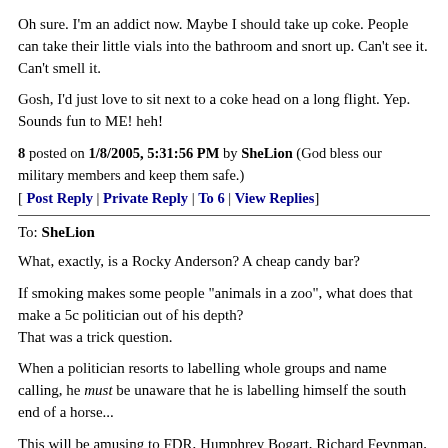Oh sure. I'm an addict now. Maybe I should take up coke. People can take their little vials into the bathroom and snort up. Can't see it. Can't smell it.
Gosh, I'd just love to sit next to a coke head on a long flight. Yep. Sounds fun to ME! heh!
8 posted on 1/8/2005, 5:31:56 PM by SheLion (God bless our military members and keep them safe.)
[ Post Reply | Private Reply | To 6 | View Replies]
To: SheLion
What, exactly, is a Rocky Anderson? A cheap candy bar?
If smoking makes some people "animals in a zoo", what does that make a 5c politician out of his depth?
That was a trick question.
When a politician resorts to labelling whole groups and name calling, he must be unaware that he is labelling himself the south end of a horse...
This will be amusing to FDR, Humphrey Bogart, Richard Feynman, Albert Einstein...
And the entire crew of Mission Control during the heyday of the